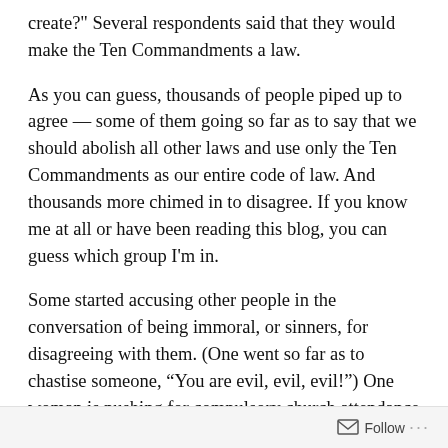create?" Several respondents said that they would make the Ten Commandments a law.
As you can guess, thousands of people piped up to agree — some of them going so far as to say that we should abolish all other laws and use only the Ten Commandments as our entire code of law. And thousands more chimed in to disagree. If you know me at all or have been reading this blog, you can guess which group I'm in.
Some started accusing other people in the conversation of being immoral, or sinners, for disagreeing with them. (One went so far as to chastise someone, “You are evil, evil, evil!”) One woman is pushing for compulsory church attendance for all.
Follow ...